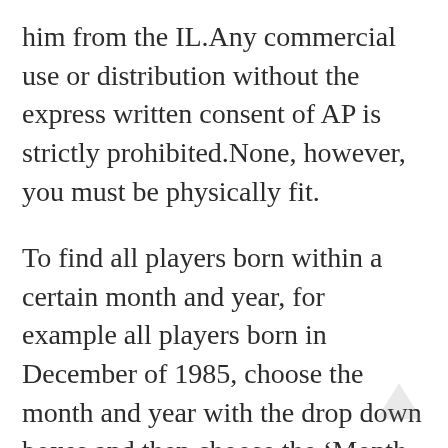him from the IL.Any commercial use or distribution without the express written consent of AP is strictly prohibited.None, however, you must be physically fit.
To find all players born within a certain month and year, for example all players born in December of 1985, choose the month and year with the drop down boxes and then choose the 'Month and Year Search' option.The land, which sits between the Esplanade and Surfers Paradise Boulevard, was purchased in 1997 by Dermajaya Properties Sdn Bhd, part of the the Brunei Investment Agency .There have been rumors for more than a year that Rondo's days with Limited Kids Steve Carlton Jersey the Celtics are numbered, but on Monday he insisted that he wants to remain with the Celtics over the long-term.Jason Kelce has